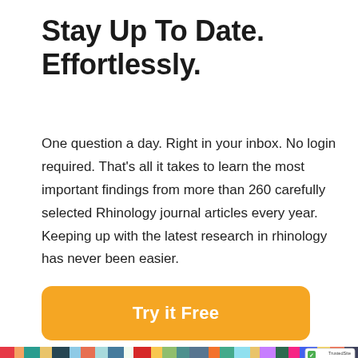Stay Up To Date. Effortlessly.
One question a day. Right in your inbox. No login required. That's all it takes to learn the most important findings from more than 260 carefully selected Rhinology journal articles every year. Keeping up with the latest research in rhinology has never been easier.
Try it Free
[Figure (photo): Stack of colorful books or journals photographed from above at an angle, with a TrustedSite badge in the lower right corner.]